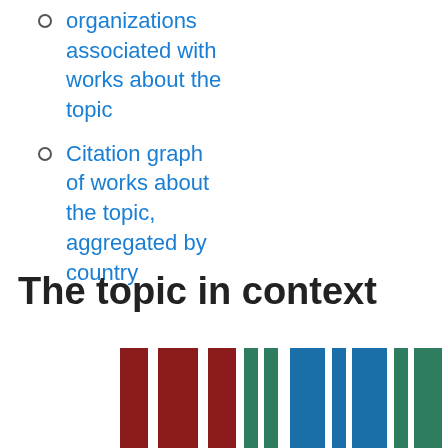organizations associated with works about the topic
Citation graph of works about the topic, aggregated by country
The topic in context
[Figure (bar-chart): Partial bar chart showing colored bars (dark red, green, blue, green) representing grouped data for 'The topic in context', partially cut off at the bottom of the page.]